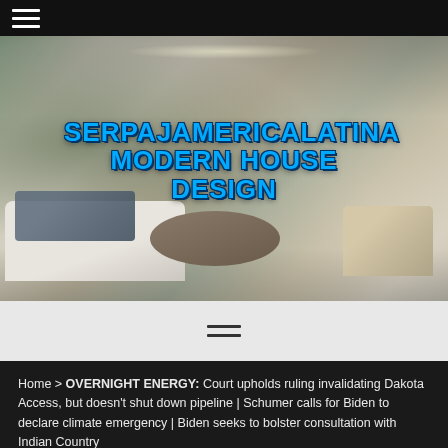≡ (hamburger menu icon)
[Figure (illustration): Interior photo of a modern living room with white sofas, a round wooden coffee table, and neutral tones. Overlaid text reads 'SERPAJAMERICALATINA MODERN HOUSE DESIGN' in bold blue stylized font with dark outline.]
≡ (menu icon)
Home > OVERNIGHT ENERGY: Court upholds ruling invalidating Dakota Access, but doesn't shut down pipeline | Schumer calls for Biden to declare climate emergency | Biden seeks to bolster consultation with Indian Country